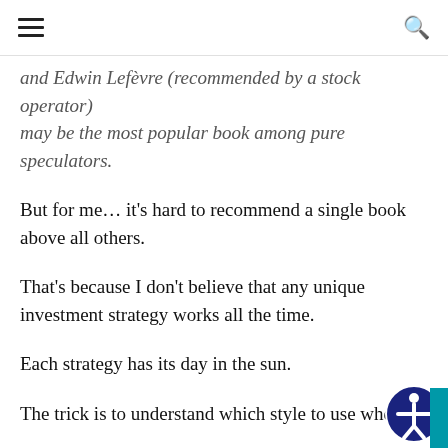[hamburger menu] [search icon]
and Edwin Lefèvre (recommended by a stock operator) may be the most popular book among pure speculators.
But for me... it's hard to recommend a single book above all others.
That's because I don't believe that any unique investment strategy works all the time.
Each strategy has its day in the sun.
The trick is to understand which style to use when.
I'll discuss one of my favorite strategies for today's markets below.